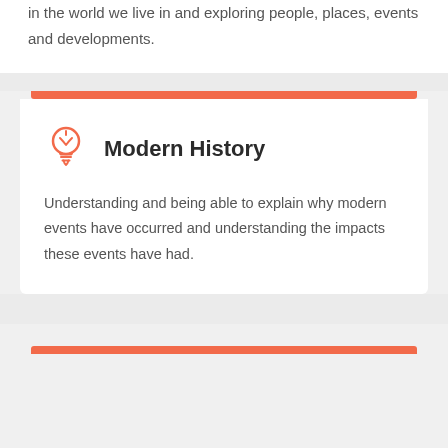in the world we live in and exploring people, places, events and developments.
Modern History
Understanding and being able to explain why modern events have occurred and understanding the impacts these events have had.